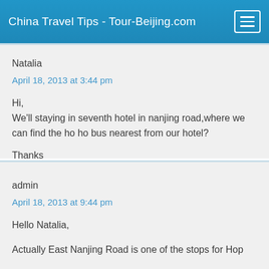China Travel Tips - Tour-Beijing.com
Natalia
April 18, 2013 at 3:44 pm
Hi,
We'll staying in seventh hotel in nanjing road,where we can find the ho ho bus nearest from our hotel?
Thanks
admin
April 18, 2013 at 9:44 pm
Hello Natalia,
Actually East Nanjing Road is one of the stops for Hop